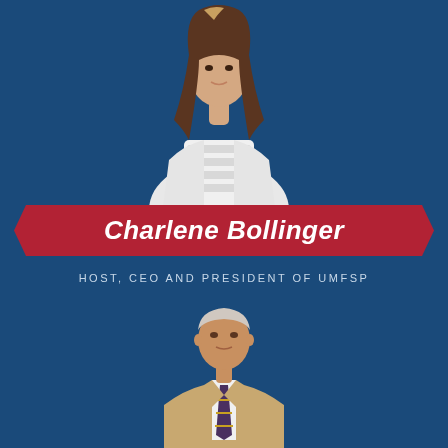[Figure (photo): Photo of Charlene Bollinger, a woman with long brown hair wearing a white lace dress and white blazer, shown from waist up against blue background]
Charlene Bollinger
HOST, CEO AND PRESIDENT OF UMFSP
[Figure (photo): Photo of a man in a beige/tan suit with striped tie, shown from chest up against blue background]